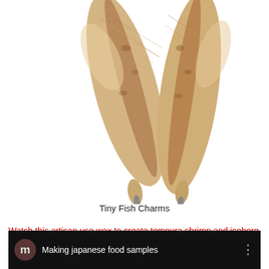[Figure (photo): Two dried small fish (tiny fish charms) on a white background, positioned diagonally, with pointed tails and detailed scaled texture.]
Tiny Fish Charms
Watch this artisan use wax to create tempura shrimp and iceberg lettuce. The lettuce making is amazing!
[Figure (screenshot): YouTube video thumbnail showing 'Making japanese food samples' with a dark background, circular 'm' icon, and video still of someone working with a mold tray.]